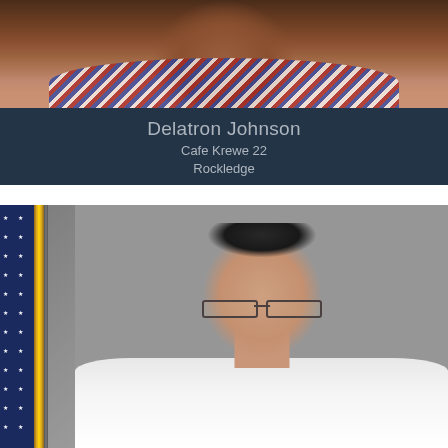[Figure (photo): Cropped photo of Delatron Johnson, a person shown from shoulders up, with decorative clothing visible]
Delatron Johnson
Cafe Krewe 22
Rockledge
[Figure (photo): Photo of a middle-aged man with glasses and short dark hair wearing a white shirt, with an American flag visible on the left side of the frame and a grey background]